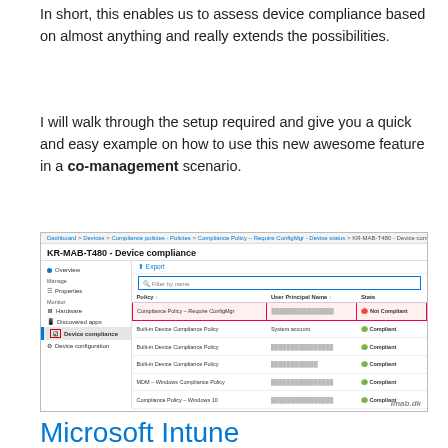In short, this enables us to assess device compliance based on almost anything and really extends the possibilities.
I will walk through the setup required and give you a quick and easy example on how to use this new awesome feature in a co-management scenario.
[Figure (screenshot): Screenshot of Microsoft Intune/Azure portal showing KR-MAB-T480 Device compliance page with a list of compliance policies. The first row 'Compliance Policy – Require ConfigMgr' shows 'Not Compliant' status highlighted in red. Other rows show 'Compliant' status. Left navigation shows 'Device compliance' selected. Watermark 'imab.dk' in lower right.]
Microsoft Intune